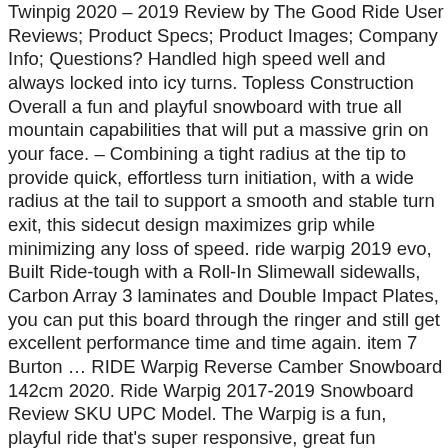Twinpig 2020 – 2019 Review by The Good Ride User Reviews; Product Specs; Product Images; Company Info; Questions? Handled high speed well and always locked into icy turns. Topless Construction Overall a fun and playful snowboard with true all mountain capabilities that will put a massive grin on your face. – Combining a tight radius at the tip to provide quick, effortless turn initiation, with a wide radius at the tail to support a smooth and stable turn exit, this sidecut design maximizes grip while minimizing any loss of speed. ride warpig 2019 evo, Built Ride-tough with a Roll-In Slimewall sidewalls, Carbon Array 3 laminates and Double Impact Plates, you can put this board through the ringer and still get excellent performance time and time again. item 7 Burton … RIDE Warpig Reverse Camber Snowboard 142cm 2020. Ride Warpig 2017-2019 Snowboard Review SKU UPC Model. The Warpig is a fun, playful ride that's super responsive, great fun charging the groomers and mini shredding side hits. Intentionally shorter, stouter, and more maneuverable than most boards you've ridden, the Ride Warpig Snowboard quickly snowballed into one of the most sought-afte